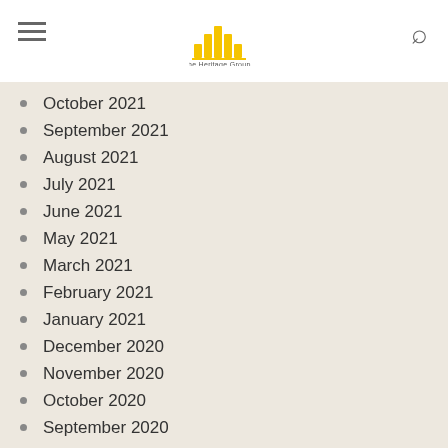[Figure (logo): The Heritage Group logo with golden bar-chart style icon and text below]
October 2021
September 2021
August 2021
July 2021
June 2021
May 2021
March 2021
February 2021
January 2021
December 2020
November 2020
October 2020
September 2020